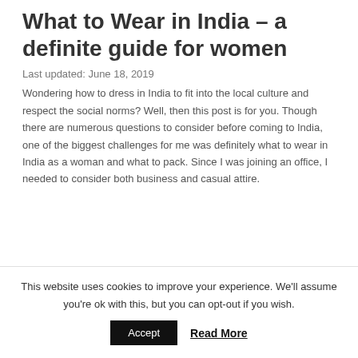What to Wear in India – a definite guide for women
Last updated: June 18, 2019
Wondering how to dress in India to fit into the local culture and respect the social norms? Well, then this post is for you. Though there are numerous questions to consider before coming to India, one of the biggest challenges for me was definitely what to wear in India as a woman and what to pack. Since I was joining an office, I needed to consider both business and casual attire.
This website uses cookies to improve your experience. We'll assume you're ok with this, but you can opt-out if you wish.
Accept  Read More